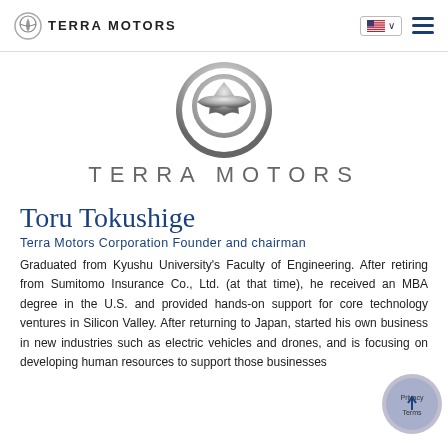[Figure (logo): Terra Motors navigation bar logo with circular emblem and text TERRA MOTORS, plus US flag language selector and hamburger menu icon]
[Figure (logo): Large Terra Motors logo centered: chrome 3D circular T emblem above text TERRA MOTORS in light gray spaced letters]
Toru Tokushige
Terra Motors Corporation Founder and chairman
Graduated from Kyushu University's Faculty of Engineering. After retiring from Sumitomo Insurance Co., Ltd. (at that time), he received an MBA degree in the U.S. and provided hands-on support for core technology ventures in Silicon Valley. After returning to Japan, started his own business in new industries such as electric vehicles and drones, and is focusing on developing human resources to support those businesses